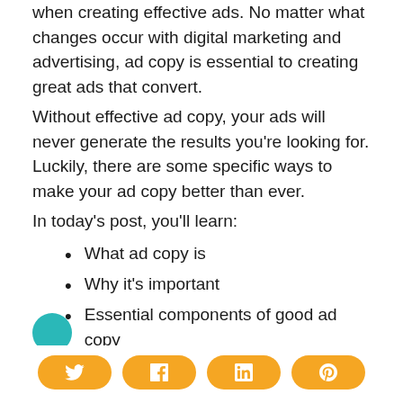when creating effective ads. No matter what changes occur with digital marketing and advertising, ad copy is essential to creating great ads that convert.
Without effective ad copy, your ads will never generate the results you're looking for. Luckily, there are some specific ways to make your ad copy better than ever.
In today's post, you'll learn:
What ad copy is
Why it's important
Essential components of good ad copy
Tips for writing better ad copy